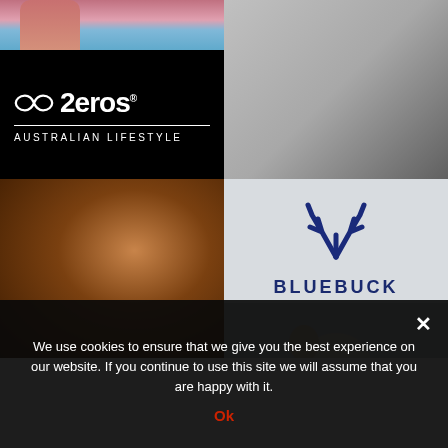[Figure (logo): 2eros Australian Lifestyle brand logo on black background, with infinity symbol and brand name]
[Figure (photo): Close-up of bare feet walking on a grey surface]
[Figure (photo): Young man laughing, wearing a brown hat, dark background]
[Figure (logo): Bluebuck brand logo showing blue antler icon and BLUEBUCK text on light grey background]
We use cookies to ensure that we give you the best experience on our website. If you continue to use this site we will assume that you are happy with it.
Ok